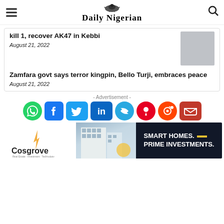Daily Nigerian
kill 1, recover AK47 in Kebbi
August 21, 2022
Zamfara govt says terror kingpin, Bello Turji, embraces peace
August 21, 2022
- Advertisement -
[Figure (infographic): Social media share icons: WhatsApp, Facebook, Twitter, LinkedIn, Telegram, Pinterest, Reddit, Email]
[Figure (infographic): Cosgrove real estate advertisement: Smart Homes. Prime Investments.]